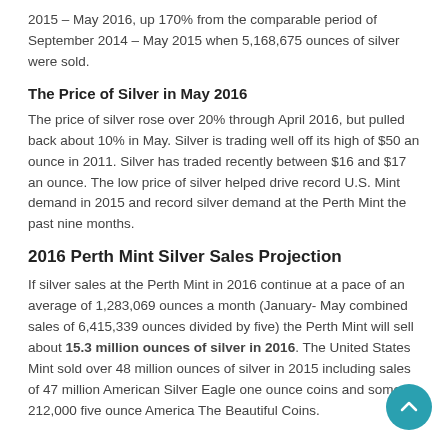2015 – May 2016, up 170% from the comparable period of September 2014 – May 2015 when 5,168,675 ounces of silver were sold.
The Price of Silver in May 2016
The price of silver rose over 20% through April 2016, but pulled back about 10% in May. Silver is trading well off its high of $50 an ounce in 2011. Silver has traded recently between $16 and $17 an ounce. The low price of silver helped drive record U.S. Mint demand in 2015 and record silver demand at the Perth Mint the past nine months.
2016 Perth Mint Silver Sales Projection
If silver sales at the Perth Mint in 2016 continue at a pace of an average of 1,283,069 ounces a month (January- May combined sales of 6,415,339 ounces divided by five) the Perth Mint will sell about 15.3 million ounces of silver in 2016. The United States Mint sold over 48 million ounces of silver in 2015 including sales of 47 million American Silver Eagle one ounce coins and some 212,000 five ounce America The Beautiful Coins.